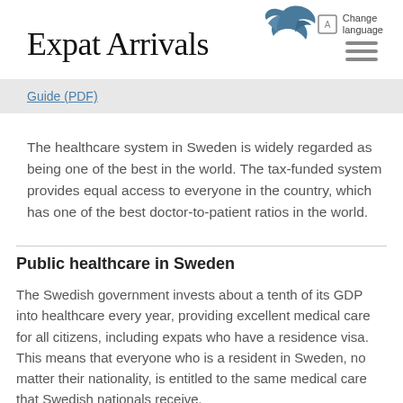[Figure (logo): Expat Arrivals logo with swallow bird illustration and text 'Expat Arrivals']
Guide (PDF)
The healthcare system in Sweden is widely regarded as being one of the best in the world. The tax-funded system provides equal access to everyone in the country, which has one of the best doctor-to-patient ratios in the world.
Public healthcare in Sweden
The Swedish government invests about a tenth of its GDP into healthcare every year, providing excellent medical care for all citizens, including expats who have a residence visa. This means that everyone who is a resident in Sweden, no matter their nationality, is entitled to the same medical care that Swedish nationals receive.